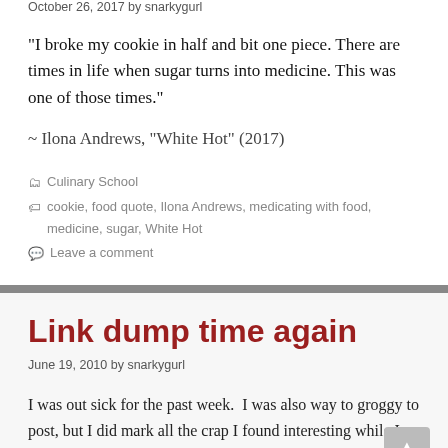October 26, 2017 by snarkygurl
“I broke my cookie in half and bit one piece. There are times in life when sugar turns into medicine. This was one of those times.”
~ Ilona Andrews, “White Hot” (2017)
Categories: Culinary School
Tags: cookie, food quote, Ilona Andrews, medicating with food, medicine, sugar, White Hot
Leave a comment
Link dump time again
June 19, 2010 by snarkygurl
I was out sick for the past week.  I was also way to groggy to post, but I did mark all the crap I found interesting while I was out (sleeping 17+ hours a day makes you desperate for...